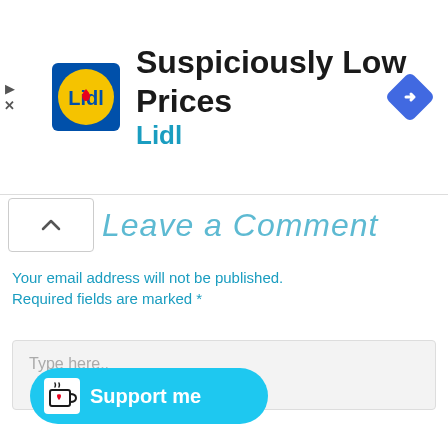[Figure (screenshot): Lidl advertisement banner: Lidl logo (yellow circle with red heart on blue square background), text 'Suspiciously Low Prices' and 'Lidl' in teal, blue diamond navigation icon, play and close controls on left]
Leave a Comment
Your email address will not be published. Required fields are marked *
[Figure (screenshot): Comment text area input box with placeholder text 'Type here..' on light gray background]
[Figure (screenshot): Ko-fi Support me button in cyan/light blue with coffee cup icon with red heart]